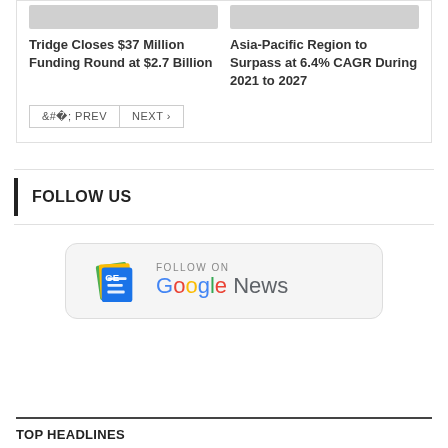Tridge Closes $37 Million Funding Round at $2.7 Billion
Asia-Pacific Region to Surpass at 6.4% CAGR During 2021 to 2027
< PREV   NEXT >
FOLLOW US
[Figure (logo): Follow on Google News badge with Google News logo]
TOP HEADLINES